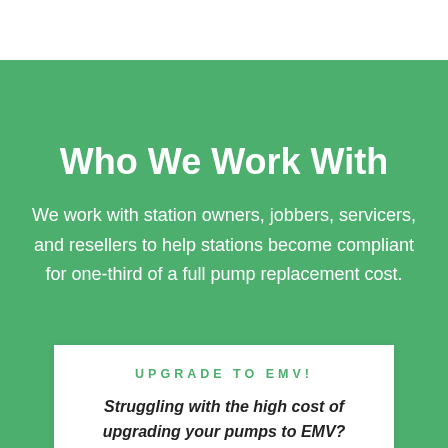Who We Work With
We work with station owners, jobbers, servicers, and resellers to help stations become compliant for one-third of a full pump replacement cost.
UPGRADE TO EMV!
Struggling with the high cost of upgrading your pumps to EMV? Sound Ener...